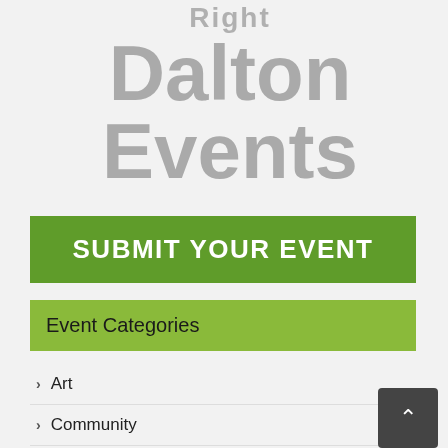Right Dalton Events
SUBMIT YOUR EVENT
Event Categories
Art
Community
Drinks (+21)
Family Friendly